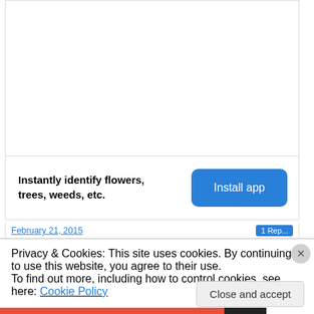[Figure (other): Large white empty content area inside a card border]
Instantly identify flowers, trees, weeds, etc.
Install app
February 21, 2015
Privacy & Cookies: This site uses cookies. By continuing to use this website, you agree to their use.
To find out more, including how to control cookies, see here: Cookie Policy
Close and accept